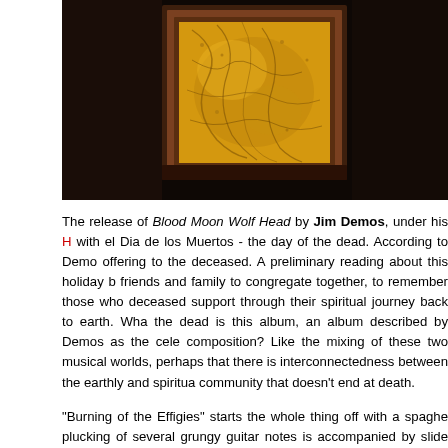[Figure (photo): Dark photograph showing a framed artwork or mirror with golden/yellow organic texture (resembling dried foliage or abstract painting) in a dark wooden frame, set against a very dark background]
The release of Blood Moon Wolf Head by Jim Demos, under his H... with el Dia de los Muertos - the day of the dead. According to Demo... offering to the deceased. A preliminary reading about this holiday b... friends and family to congregate together, to remember those who... deceased support through their spiritual journey back to earth. Wha... the dead is this album, an album described by Demos as the cele... composition? Like the mixing of these two musical worlds, perhaps... that there is interconnectedness between the earthly and spiritua... community that doesn't end at death.
"Burning of the Effigies" starts the whole thing off with a spaghet... plucking of several grungy guitar notes is accompanied by slide guit...